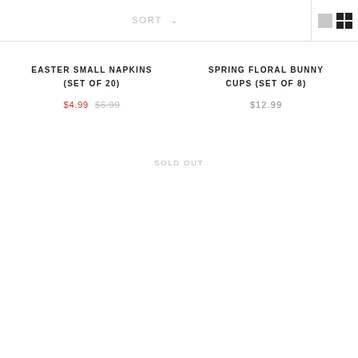SORT
EASTER SMALL NAPKINS (SET OF 20)
$4.99  $6.99
SPRING FLORAL BUNNY CUPS (SET OF 8)
$12.99
SOLD OUT